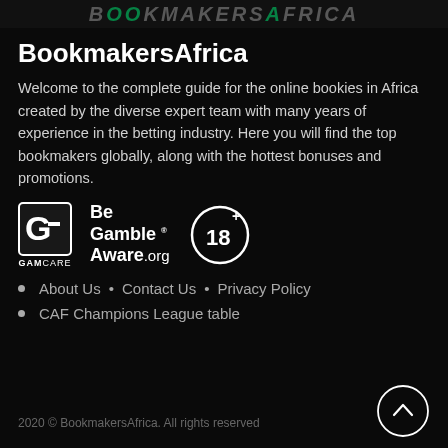BOOKMAKERS (banner logo)
BookmakersAfrica
Welcome to the complete guide for the online bookies in Africa created by the diverse expert team with many years of experience in the betting industry. Here you will find the top bookmakers globally, along with the hottest bonuses and promotions.
[Figure (logo): GamCare logo, Be Gamble Aware.org logo, and 18+ age restriction badge]
About Us • Contact Us • Privacy Policy
CAF Champions League table
2020 © BookmakersAfrica. All rights reserved